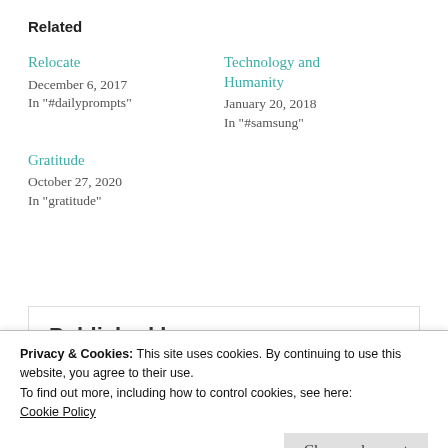Related
Relocate
December 6, 2017
In "#dailyprompts"
Technology and Humanity
January 20, 2018
In "#samsung"
Gratitude
October 27, 2020
In "gratitude"
Published by
Privacy & Cookies: This site uses cookies. By continuing to use this website, you agree to their use.
To find out more, including how to control cookies, see here:
Cookie Policy
Close and accept